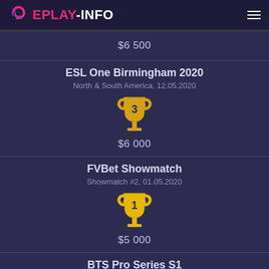EPLAY-INFO
$6 500
ESL One Birmingham 2020
North & South America, 12.05.2020
[Figure (illustration): Trophy icon with number 3]
$6 000
FVBet Showmatch
Showmatch #2, 01.05.2020
[Figure (illustration): Trophy icon with number 1]
$5 000
BTS Pro Series S1
America, 10.04.2020
[Figure (illustration): Trophy icon with number 1]